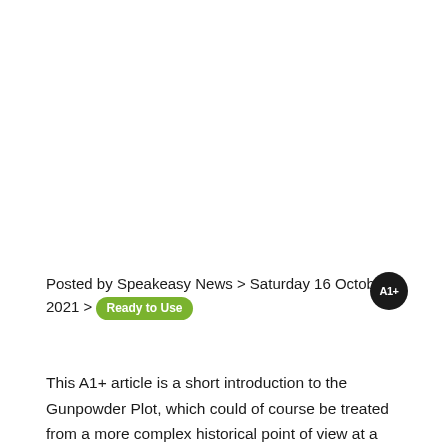Posted by Speakeasy News > Saturday 16 October 2021 > Ready to Use
This A1+ article is a short introduction to the Gunpowder Plot, which could of course be treated from a more complex historical point of view at a higher level. The